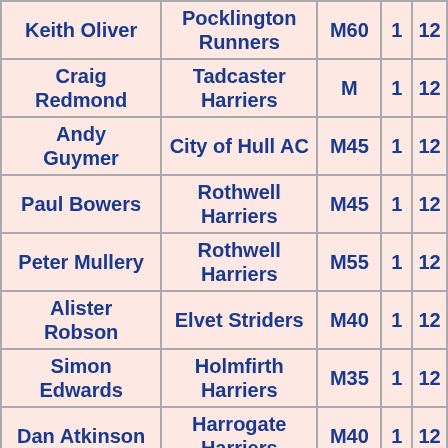| Name | Club | Category | Col4 | Col5 |
| --- | --- | --- | --- | --- |
| Keith Oliver | Pocklington Runners | M60 | 1 | 12 |
| Craig Redmond | Tadcaster Harriers | M | 1 | 12 |
| Andy Guymer | City of Hull AC | M45 | 1 | 12 |
| Paul Bowers | Rothwell Harriers | M45 | 1 | 12 |
| Peter Mullery | Rothwell Harriers | M55 | 1 | 12 |
| Alister Robson | Elvet Striders | M40 | 1 | 12 |
| Simon Edwards | Holmfirth Harriers | M35 | 1 | 12 |
| Dan Atkinson | Harrogate Harriers | M40 | 1 | 12 |